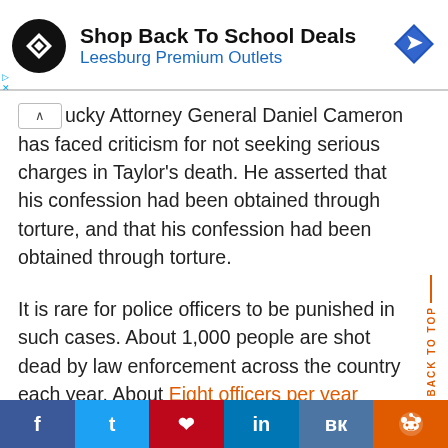[Figure (advertisement): Ad banner for Leesburg Premium Outlets with Shop Back To School Deals text, circular black logo with white diamond shape, and blue direction sign icon]
lucky Attorney General Daniel Cameron has faced criticism for not seeking serious charges in Taylor's death. He asserted that his confession had been obtained through torture, and that his confession had been obtained through torture.
It is rare for police officers to be punished in such cases. About 1,000 people are shot dead by law enforcement across the country each year. About Eight officers per year According to Philip Stinson, a professor of criminal justice at Bowling Green
f  t  p  in  vk  [reddit icon]